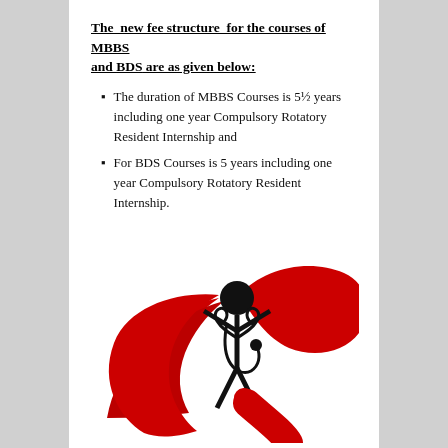The new fee structure for the courses of MBBS and BDS are as given below:
The duration of MBBS Courses is 5½ years including one year Compulsory Rotatory Resident Internship and
For BDS Courses is 5 years including one year Compulsory Rotatory Resident Internship.
[Figure (logo): Medical logo showing a stick figure with a stethoscope surrounded by two large red swoosh/crescent shapes forming a dynamic pose]